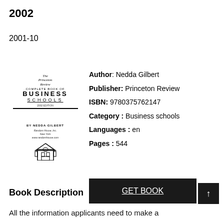2002
2001-10
[Figure (illustration): Book cover: The Princeton Review Complete Book of Business Schools, 2002 edition, by Nedda Gilbert. Random House, New York. Features building illustration.]
Author: Nedda Gilbert
Publisher: Princeton Review
ISBN: 9780375762147
Category : Business schools
Languages : en
Pages : 544
GET BOOK
Book Description
All the information applicants need to make a